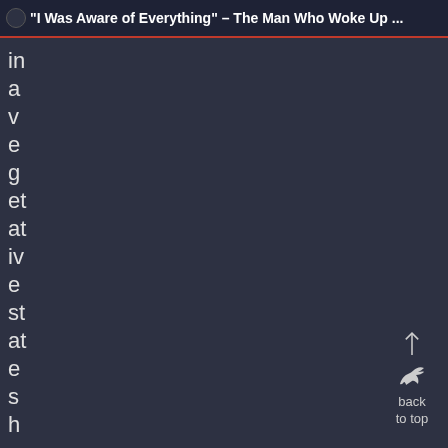"I Was Aware of Everything" – The Man Who Woke Up ...
in
a
v
e
g
et
at
iv
e
st
at
e
s
h
[Figure (illustration): Back to top button with upward arrow and bird/raven icon]